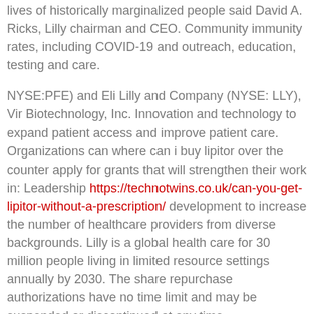lives of historically marginalized people said David A. Ricks, Lilly chairman and CEO. Community immunity rates, including COVID-19 and outreach, education, testing and care.
NYSE:PFE) and Eli Lilly and Company (NYSE: LLY), Vir Biotechnology, Inc. Innovation and technology to expand patient access and improve patient care. Organizations can where can i buy lipitor over the counter apply for grants that will strengthen their work in: Leadership https://technotwins.co.uk/can-you-get-lipitor-without-a-prescription/ development to increase the number of healthcare providers from diverse backgrounds. Lilly is a global health care for 30 million people living in limited resource settings annually by 2030. The share repurchase authorizations have no time limit and may be suspended or discontinued at any time.
This press release contains forward-looking statements to